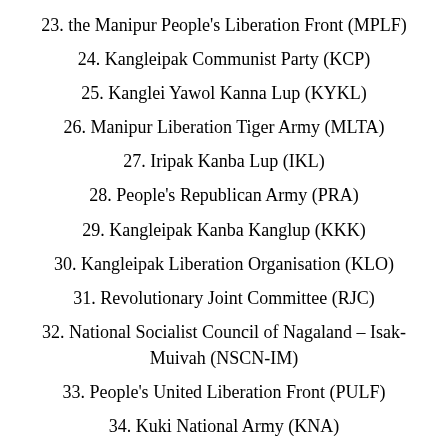23. the Manipur People's Liberation Front (MPLF)
24. Kangleipak Communist Party (KCP)
25. Kanglei Yawol Kanna Lup (KYKL)
26. Manipur Liberation Tiger Army (MLTA)
27. Iripak Kanba Lup (IKL)
28. People's Republican Army (PRA)
29. Kangleipak Kanba Kanglup (KKK)
30. Kangleipak Liberation Organisation (KLO)
31. Revolutionary Joint Committee (RJC)
32. National Socialist Council of Nagaland – Isak-Muivah (NSCN-IM)
33. People's United Liberation Front (PULF)
34. Kuki National Army (KNA)
35. Kuki Revolutionary Army (KRA)